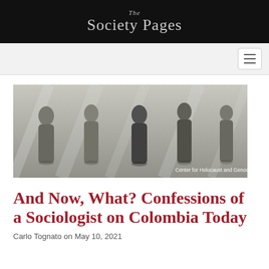The Society Pages
[Figure (photo): Black and white photograph of stone or carved human-like figures standing against a textured wall, with text overlay reading 'Center for Holocaust and Genocide Studies']
And Now, What? Confessions of a Sociologist on Colombia Today
Carlo Tognato on May 10, 2021